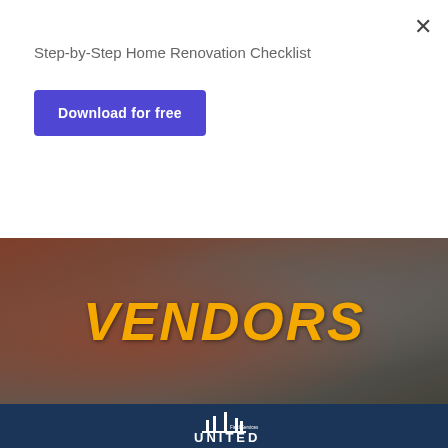Step-by-Step Home Renovation Checklist
Download for free
VENDORS
[Figure (logo): United Field Services logo with stylized building/skyscraper graphic in white on dark navy blue background]
CONNECT WITH US
[Figure (other): Social media icons row: Facebook, Twitter, Instagram, LinkedIn - all with golden/tan background]